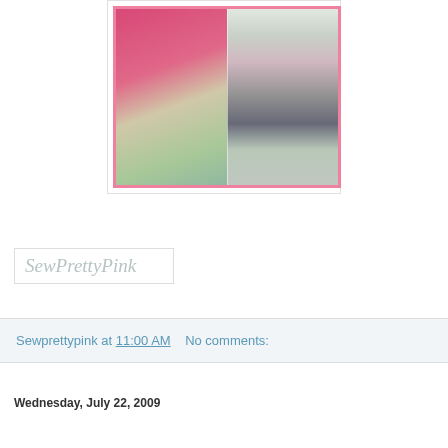[Figure (photo): A craft/sewing blog photo showing a collage: on the left, a pink embroidered fabric item with script lettering; on the right, multiple fabric items with labels arranged vertically. Pink border frame around the collage.]
[Figure (logo): SewPrettyPink logo text in gray/silver italic script font inside a bordered box]
Sewprettypink at 11:00 AM   No comments:
Wednesday, July 22, 2009